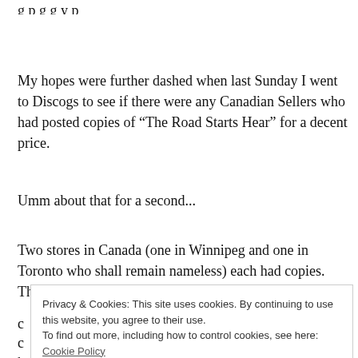g p g g y p (partial/cut off at top)
My hopes were further dashed when last Sunday I went to Discogs to see if there were any Canadian Sellers who had posted copies of “The Road Starts Hear” for a decent price.
Umm about that for a second...
Two stores in Canada (one in Winnipeg and one in Toronto who shall remain nameless) each had copies.  The problem was
Privacy & Cookies: This site uses cookies. By continuing to use this website, you agree to their use.
To find out more, including how to control cookies, see here: Cookie Policy

Close and accept